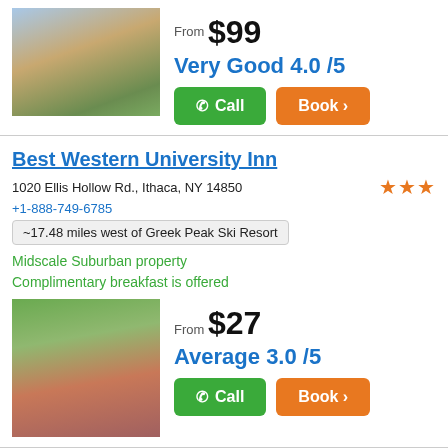[Figure (photo): Hotel exterior at dusk with warm lighting, trees in background]
From $99
Very Good 4.0 /5
Call
Book >
Best Western University Inn
1020 Ellis Hollow Rd., Ithaca, NY 14850
+1-888-749-6785
~17.48 miles west of Greek Peak Ski Resort
Midscale Suburban property
Complimentary breakfast is offered
[Figure (photo): Best Western hotel exterior with red brick building and landscaping]
From $27
Average 3.0 /5
Call
Book >
Need some questions answered?
Talk to an expert Hotel Planner: